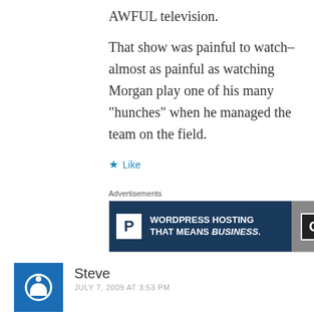AWFUL television.
That show was painful to watch–almost as painful as watching Morgan play one of his many “hunches” when he managed the team on the field.
★ Like
Advertisements
[Figure (screenshot): WordPress hosting advertisement banner with dark blue background, white P logo box, text 'WORDPRESS HOSTING THAT MEANS BUSINESS.' and an OPEN sign image on the right]
Steve
JULY 7, 2009 AT 3:53 PM